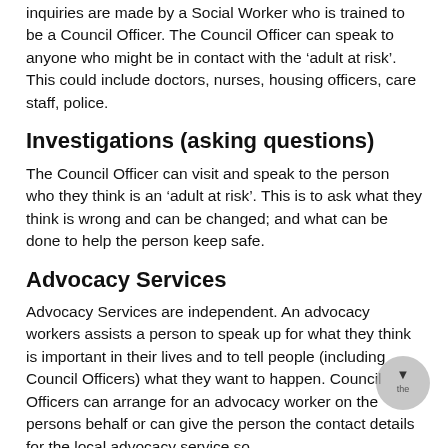inquiries are made by a Social Worker who is trained to be a Council Officer. The Council Officer can speak to anyone who might be in contact with the ‘adult at risk’.  This could include doctors, nurses, housing officers, care staff, police.
Investigations (asking questions)
The Council Officer can visit and speak to the person who they think is an ‘adult at risk’.  This is to ask what they think is wrong and can be changed; and what can be done to help the person keep safe.
Advocacy Services
Advocacy Services are independent. An advocacy workers assists a person to speak up for what they think is important in their lives and to tell people (including Council Officers) what they want to happen.  Council Officers can arrange for an advocacy worker on the persons behalf or can give the person the contact details for the local advocacy service so